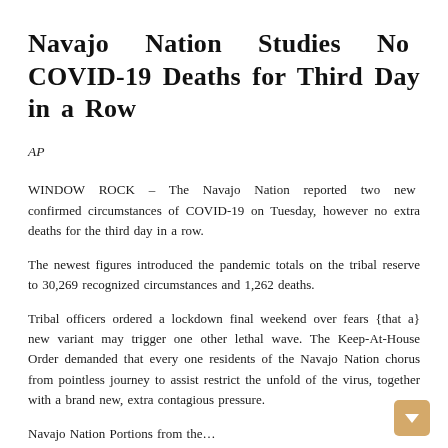Navajo Nation Studies No COVID-19 Deaths for Third Day in a Row
AP
WINDOW ROCK – The Navajo Nation reported two new confirmed circumstances of COVID-19 on Tuesday, however no extra deaths for the third day in a row.
The newest figures introduced the pandemic totals on the tribal reserve to 30,269 recognized circumstances and 1,262 deaths.
Tribal officers ordered a lockdown final weekend over fears {that a} new variant may trigger one other lethal wave. The Keep-At-House Order demanded that every one residents of the Navajo Nation chorus from pointless journey to assist restrict the unfold of the virus, together with a brand new, extra contagious pressure.
Navajo Nation Portions from the…